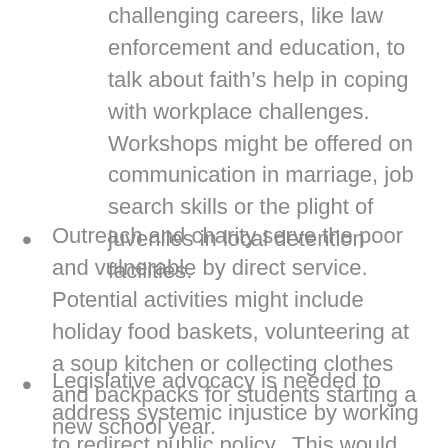challenging careers, like law enforcement and education, to talk about faith's help in coping with workplace challenges.  Workshops might be offered on communication in marriage, job search skills or the plight of juveniles in local detention facilities.
Outreach and charity serve the poor and vulnerable by direct service.  Potential activities might include holiday food baskets, volunteering at a soup kitchen or collecting clothes and backpacks for students starting a new school year.
Legislative advocacy is needed to address systemic injustice by working to redirect public policy.  This would encourage parishioners to